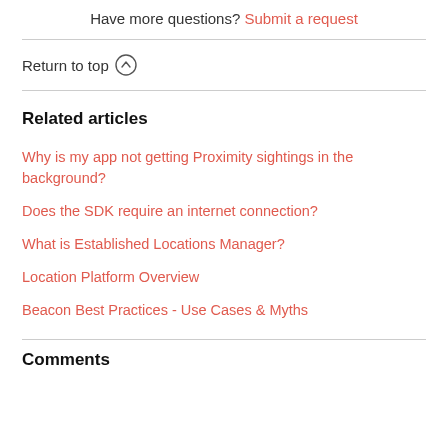Have more questions? Submit a request
Return to top ↑
Related articles
Why is my app not getting Proximity sightings in the background?
Does the SDK require an internet connection?
What is Established Locations Manager?
Location Platform Overview
Beacon Best Practices - Use Cases & Myths
Comments